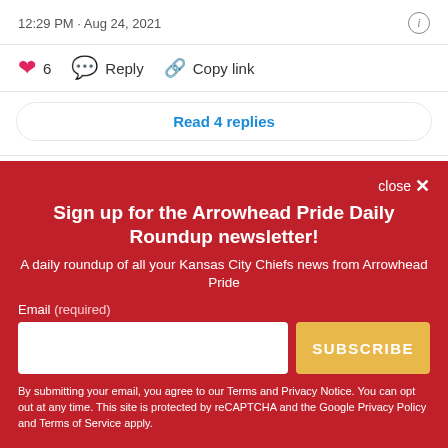12:29 PM · Aug 24, 2021
❤ 6   Reply   Copy link
Read 4 replies
close ×
Sign up for the Arrowhead Pride Daily Roundup newsletter!
A daily roundup of all your Kansas City Chiefs news from Arrowhead Pride
Email (required)
SUBSCRIBE
By submitting your email, you agree to our Terms and Privacy Notice. You can opt out at any time. This site is protected by reCAPTCHA and the Google Privacy Policy and Terms of Service apply.